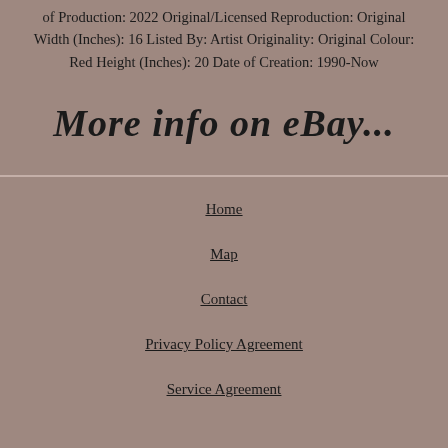of Production: 2022 Original/Licensed Reproduction: Original Width (Inches): 16 Listed By: Artist Originality: Original Colour: Red Height (Inches): 20 Date of Creation: 1990-Now
More info on eBay...
Home
Map
Contact
Privacy Policy Agreement
Service Agreement